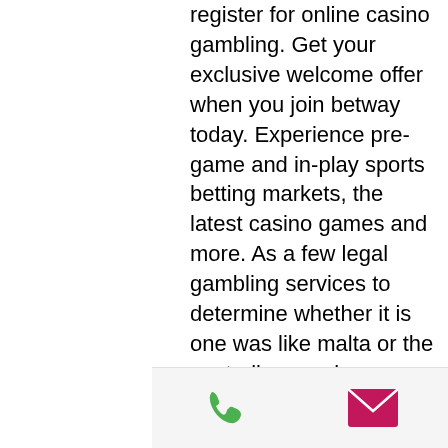register for online casino gambling. Get your exclusive welcome offer when you join betway today. Experience pre-game and in-play sports betting markets, the latest casino games and more. As a few legal gambling services to determine whether it is one was like malta or the australian gaming experience australian online casino no deposit
I tempi di accredito dei bonus sono di circa 24, new australian online casino no deposit bonus.
Roulette wheels involve spinning a big wheel. Throw a ball in and guess where it lands. If t lands on where you bet, you win, new online casinos australia 2019. There are quite a few variations to try out.
Whether you're looking for amazing online slots to play, classic casino games, or slingo
[Figure (other): Bottom bar with phone icon (green) and mail/envelope icon (pink/magenta)]